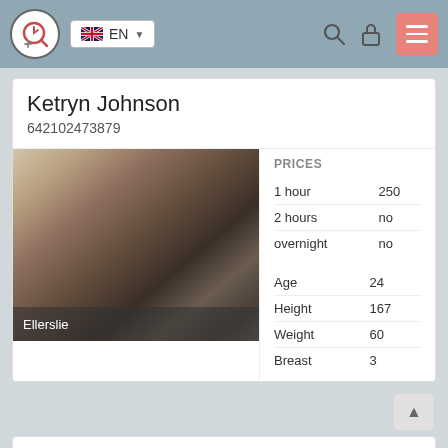EN (navigation bar with logo, language selector, search, lock, and menu icons)
Ketryn Johnson
642102473879
[Figure (photo): Blurred profile photo of a person with brown/blonde hair viewed from behind, lying down. Location label 'Ellerslie' overlaid at bottom.]
|  |  |
| --- | --- |
| PRICES |  |
| 1 hour | 250 |
| 2 hours | no |
| overnight | no |
| Age | 24 |
| Height | 167 |
| Weight | 60 |
| Breast | 3 |
Ellerslie
Whitney